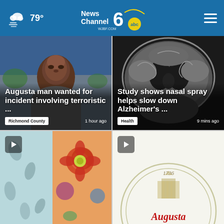79° News Channel 6 abc WJBF.COM
[Figure (photo): Augusta man portrait photo with overlay text and Richmond County tag]
Augusta man wanted for incident involving terroristic ...
Richmond County    1 hour ago
[Figure (photo): Brain MRI scan image with overlay text and Health tag]
Study shows nasal spray helps slow down Alzheimer's ...
Health    9 mins ago
[Figure (photo): Colorful fabric/clothing photo with play button]
[Figure (photo): Seal or logo partially visible with red script text, play button]